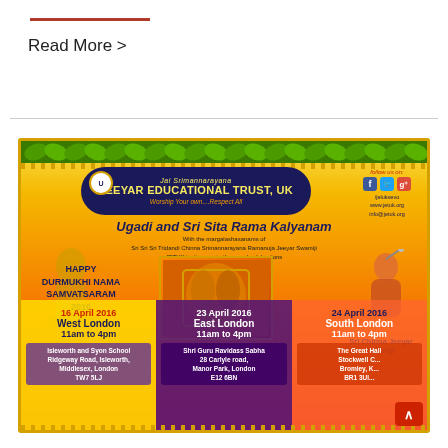Read More >
[Figure (infographic): Jeeyar Educational Trust UK flyer for Ugadi and Sri Sita Rama Kalyanam event. Three event dates: 16 April 2016 West London, 23 April 2016 East London, 24 April 2016 South London. Each event is 11am to 4pm. Includes Happy Durmukhi Nama Samvatsaram 2016 greeting, image of Sri Chinna Jeeyar Swamiji, and social media links.]